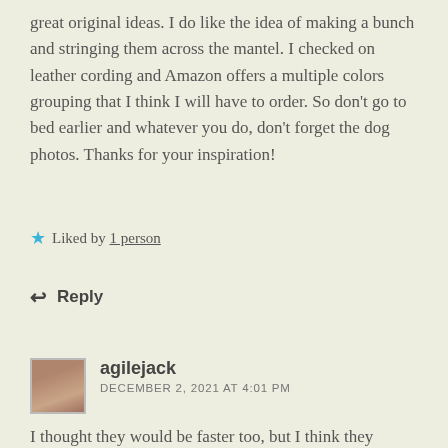great original ideas. I do like the idea of making a bunch and stringing them across the mantel. I checked on leather cording and Amazon offers a multiple colors grouping that I think I will have to order. So don’t go to bed earlier and whatever you do, don’t forget the dog photos. Thanks for your inspiration!
★ Liked by 1 person
↩ Reply
agilejack
DECEMBER 2, 2021 AT 4:01 PM
I thought they would be faster too, but I think they actually take a little more time because of the quilting. but they are still pretty quick to make.